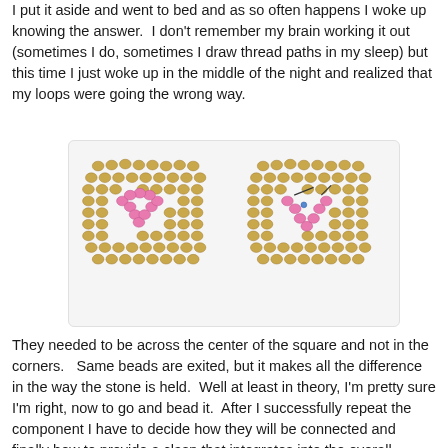I put it aside and went to bed and as so often happens I woke up knowing the answer.  I don't remember my brain working it out (sometimes I do, sometimes I draw thread paths in my sleep) but this time I just woke up in the middle of the night and realized that my loops were going the wrong way.
[Figure (photo): Two beadwork squares side by side showing golden/tan beads arranged in a square grid pattern with pink beads forming a looping path or thread inside each square. The right square also shows small black lines indicating thread direction.]
They needed to be across the center of the square and not in the corners.   Same beads are exited, but it makes all the difference in the way the stone is held.  Well at least in theory, I'm pretty sure I'm right, now to go and bead it.  After I successfully repeat the component I have to decide how they will be connected and finally how to provide a clasp that integrates into the overall design.